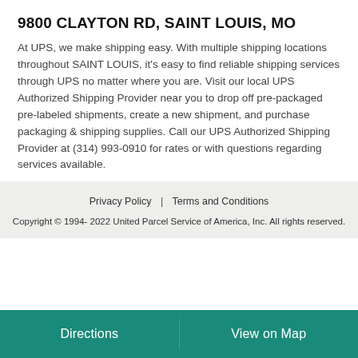9800 CLAYTON RD, SAINT LOUIS, MO
At UPS, we make shipping easy. With multiple shipping locations throughout SAINT LOUIS, it's easy to find reliable shipping services through UPS no matter where you are. Visit our local UPS Authorized Shipping Provider near you to drop off pre-packaged pre-labeled shipments, create a new shipment, and purchase packaging & shipping supplies. Call our UPS Authorized Shipping Provider at (314) 993-0910 for rates or with questions regarding services available.
Privacy Policy | Terms and Conditions
Copyright © 1994- 2022 United Parcel Service of America, Inc. All rights reserved.